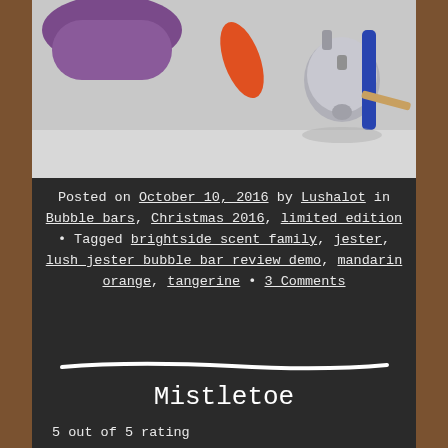[Figure (photo): Photo of bath/beauty products including a purple item, orange object, and a silver jingle bell with a blue strap on a white surface]
Posted on October 10, 2016 by Lushalot in Bubble bars, Christmas 2016, limited edition • Tagged brightside scent family, jester, lush jester bubble bar review demo, mandarin orange, tangerine • 3 Comments
Mistletoe
5 out of 5 rating